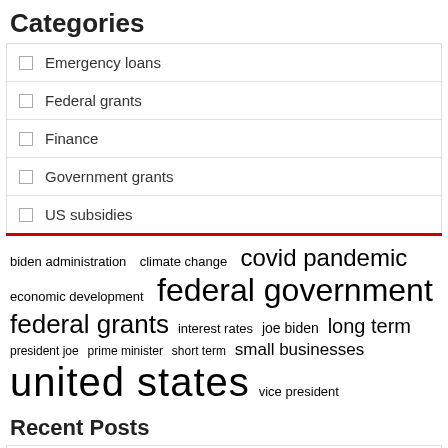Categories
Emergency loans
Federal grants
Finance
Government grants
US subsidies
[Figure (infographic): Tag cloud with words of varying sizes: biden administration, climate change, covid pandemic (large), economic development, federal government (very large), federal grants (large), interest rates, joe biden, long term (large), president joe, prime minister, short term, small businesses (medium-large), united states (very large), vice president]
Recent Posts
Bank credit fell 5% in April